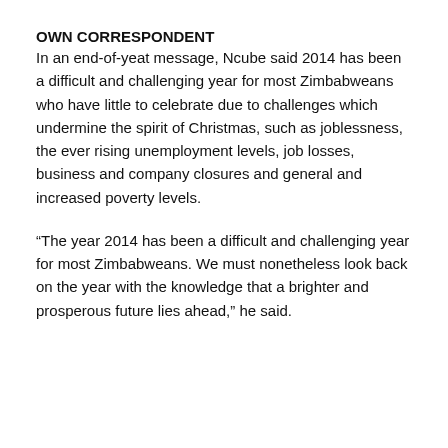OWN CORRESPONDENT
In an end-of-yeat message, Ncube said 2014 has been a difficult and challenging year for most Zimbabweans who have little to celebrate due to challenges which undermine the spirit of Christmas, such as joblessness, the ever rising unemployment levels, job losses, business and company closures and general and increased poverty levels.
“The year 2014 has been a difficult and challenging year for most Zimbabweans. We must nonetheless look back on the year with the knowledge that a brighter and prosperous future lies ahead,” he said.